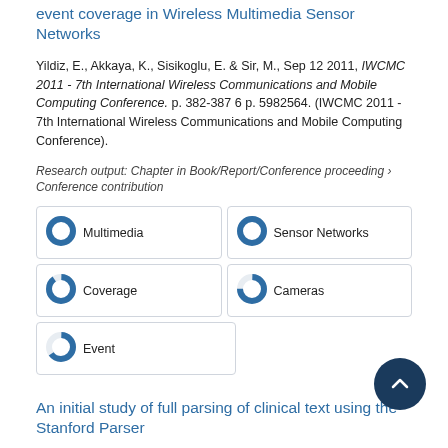event coverage in Wireless Multimedia Sensor Networks
Yildiz, E., Akkaya, K., Sisikoglu, E. & Sir, M., Sep 12 2011, IWCMC 2011 - 7th International Wireless Communications and Mobile Computing Conference. p. 382-387 6 p. 5982564. (IWCMC 2011 - 7th International Wireless Communications and Mobile Computing Conference).
Research output: Chapter in Book/Report/Conference proceeding › Conference contribution
[Figure (infographic): Five keyword badge tiles: Multimedia (100%), Sensor Networks (100%), Coverage (90%), Cameras (75%), Event (65%)]
An initial study of full parsing of clinical text using the Stanford Parser
Xu, H., AbdelRahman, S., Jiang, M., Fan, J. W. & Huang, 2011, 2011 IEEE International Conference on Bioinforma... Biomedicine Workshops, BIBMW 2011. p. 607-614 8 p.